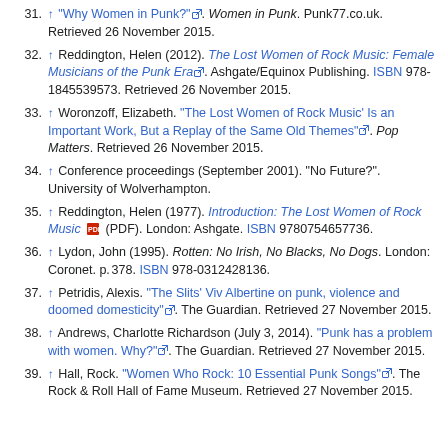31. ↑ "Why Women in Punk?". Women in Punk. Punk77.co.uk. Retrieved 26 November 2015.
32. ↑ Reddington, Helen (2012). The Lost Women of Rock Music: Female Musicians of the Punk Era. Ashgate/Equinox Publishing. ISBN 978-1845539573. Retrieved 26 November 2015.
33. ↑ Woronzoff, Elizabeth. "The Lost Women of Rock Music' Is an Important Work, But a Replay of the Same Old Themes". Pop Matters. Retrieved 26 November 2015.
34. ↑ Conference proceedings (September 2001). "No Future?". University of Wolverhampton.
35. ↑ Reddington, Helen (1977). Introduction: The Lost Women of Rock Music (PDF). London: Ashgate. ISBN 9780754657736.
36. ↑ Lydon, John (1995). Rotten: No Irish, No Blacks, No Dogs. London: Coronet. p. 378. ISBN 978-0312428136.
37. ↑ Petridis, Alexis. "The Slits' Viv Albertine on punk, violence and doomed domesticity". The Guardian. Retrieved 27 November 2015.
38. ↑ Andrews, Charlotte Richardson (July 3, 2014). "Punk has a problem with women. Why?". The Guardian. Retrieved 27 November 2015.
39. ↑ Hall, Rock. "Women Who Rock: 10 Essential Punk Songs". The Rock & Roll Hall of Fame Museum. Retrieved 27 November 2015.